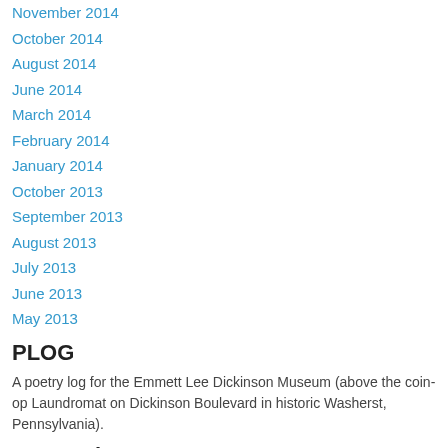November 2014
October 2014
August 2014
June 2014
March 2014
February 2014
January 2014
October 2013
September 2013
August 2013
July 2013
June 2013
May 2013
PLOG
A poetry log for the Emmett Lee Dickinson Museum (above the coin-op Laundromat on Dickinson Boulevard in historic Washerst, Pennsylvania).
Categories
All